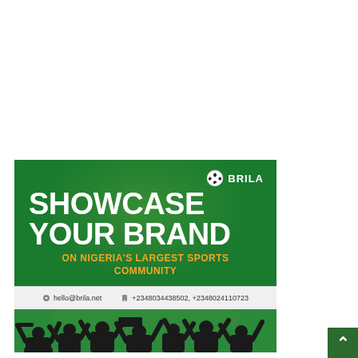[Figure (illustration): Brila sports media advertisement banner. Green background with bold white text 'SHOWCASE YOUR BRAND' and orange text 'ON NIGERIA'S LARGEST SPORTS COMMUNITY'. Brila logo (soccer ball + BRILA text) in top right. Contact info: hello@brila.net and +2348034438502, +2348024110723. Bottom portion shows silhouettes of cheering sports fans on green background.]